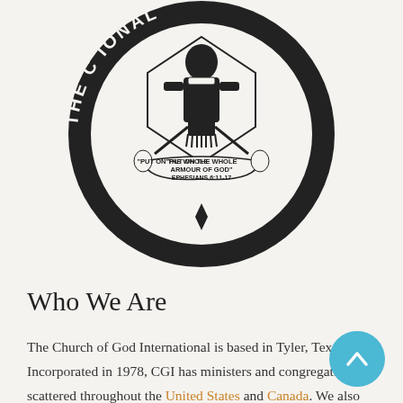[Figure (logo): Church of God International Philippines circular seal/logo with figure in armor, scrolls reading 'PUT ON THE WHOLE ARMOUR OF GOD - EPHESIANS 6:11-17', and text 'PHILIPPINES' at the bottom arc]
Who We Are
The Church of God International is based in Tyler, Texas. Incorporated in 1978, CGI has ministers and congregations scattered throughout the United States and Canada. We also have churches in Jamaica, the Philippines, Australia and in the United